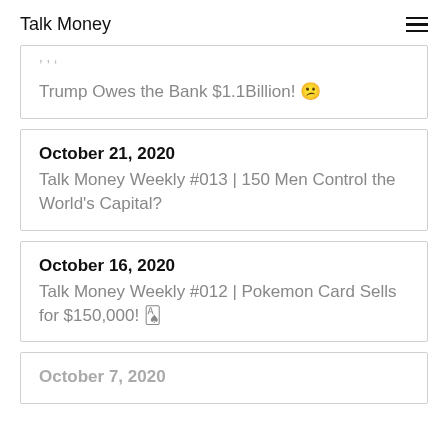Talk Money
Trump Owes the Bank $1.1Billion! ☹
October 21, 2020
Talk Money Weekly #013 | 150 Men Control the World's Capital?
October 16, 2020
Talk Money Weekly #012 | Pokemon Card Sells for $150,000! 🃏
October 7, 2020